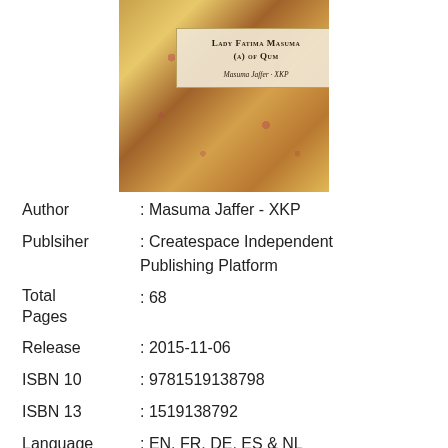[Figure (illustration): Book cover of 'Lady Fatima Masuma (a) of Qum' by Masuma Jaffer, XKP. Ornate floral patterned cover in gold, red and brown with a title box overlay.]
| Author | : Masuma Jaffer - XKP |
| Publsiher | : Createspace Independent Publishing Platform |
| Total Pages | : 68 |
| Release | : 2015-11-06 |
| ISBN 10 | : 9781519138798 |
| ISBN 13 | : 1519138792 |
| Language | : EN, FR, DE, ES & NL |